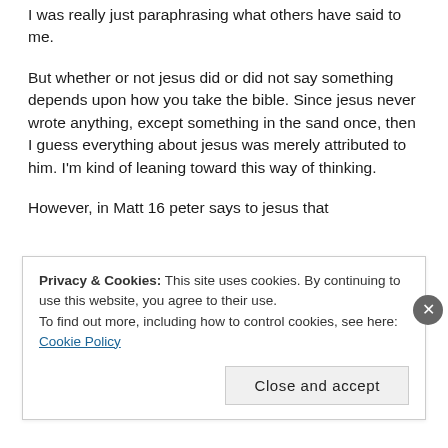I was really just paraphrasing what others have said to me.
But whether or not jesus did or did not say something depends upon how you take the bible. Since jesus never wrote anything, except something in the sand once, then I guess everything about jesus was merely attributed to him. I'm kind of leaning toward this way of thinking.
However, in Matt 16 peter says to jesus that
Privacy & Cookies: This site uses cookies. By continuing to use this website, you agree to their use.
To find out more, including how to control cookies, see here: Cookie Policy
Close and accept